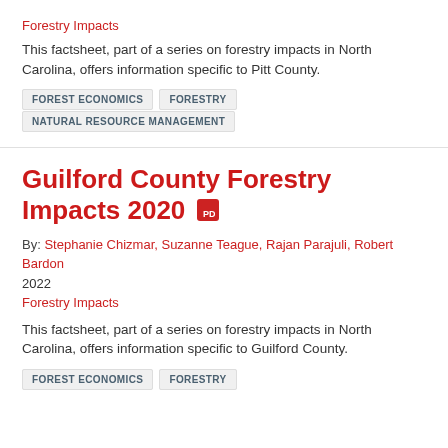Forestry Impacts
This factsheet, part of a series on forestry impacts in North Carolina, offers information specific to Pitt County.
FOREST ECONOMICS
FORESTRY
NATURAL RESOURCE MANAGEMENT
Guilford County Forestry Impacts 2020
By: Stephanie Chizmar, Suzanne Teague, Rajan Parajuli, Robert Bardon
2022
Forestry Impacts
This factsheet, part of a series on forestry impacts in North Carolina, offers information specific to Guilford County.
FOREST ECONOMICS
FORESTRY